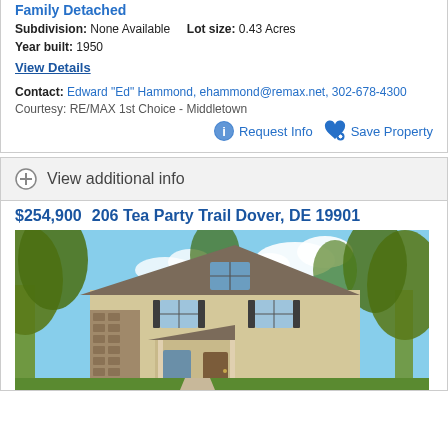Family Detached
Subdivision: None Available   Lot size: 0.43 Acres
Year built: 1950
View Details
Contact: Edward "Ed" Hammond, ehammond@remax.net, 302-678-4300
Courtesy: RE/MAX 1st Choice - Middletown
Request Info  Save Property
View additional info
$254,900  206 Tea Party Trail Dover, DE 19901
[Figure (photo): Two-story residential home with beige siding, stone accents, and surrounded by green trees under a blue sky.]